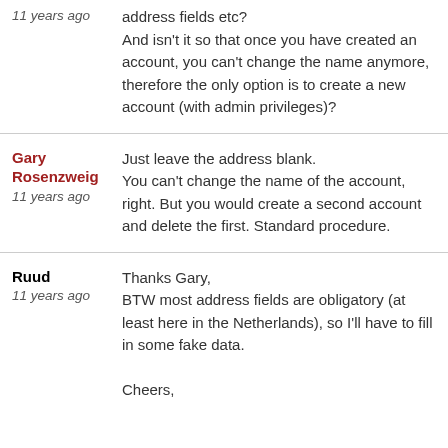11 years ago — address fields etc? And isn't it so that once you have created an account, you can't change the name anymore, therefore the only option is to create a new account (with admin privileges)?
Gary Rosenzweig — 11 years ago — Just leave the address blank. You can't change the name of the account, right. But you would create a second account and delete the first. Standard procedure.
Ruud — 11 years ago — Thanks Gary, BTW most address fields are obligatory (at least here in the Netherlands), so I'll have to fill in some fake data. Cheers,